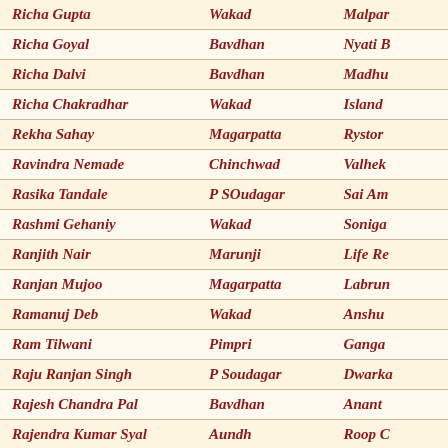| Name | Area | Society |
| --- | --- | --- |
| Richa Gupta | Wakad | Malpar… |
| Richa Goyal | Bavdhan | Nyati B… |
| Richa Dalvi | Bavdhan | Madhu… |
| Richa Chakradhar | Wakad | Island… |
| Rekha Sahay | Magarpatta | Rystor… |
| Ravindra Nemade | Chinchwad | Valhek… |
| Rasika Tandale | P SOudagar | Sai Am… |
| Rashmi Gehaniy | Wakad | Soniga… |
| Ranjith Nair | Marunji | Life Re… |
| Ranjan Mujoo | Magarpatta | Labrun… |
| Ramanuj Deb | Wakad | Anshu… |
| Ram Tilwani | Pimpri | Ganga… |
| Raju Ranjan Singh | P Soudagar | Dwarka… |
| Rajesh Chandra Pal | Bavdhan | Anant… |
| Rajendra Kumar Syal | Aundh | Roop C… |
| Rahul Singh Narooka | P SOudagar | Rosela… |
| Rahul Shah | P Nilakh | Waters… |
| Rahul Bhoj | P SOudagar | Dwarka… |
| Rachana Gour | Koregaon Park | Bramb… |